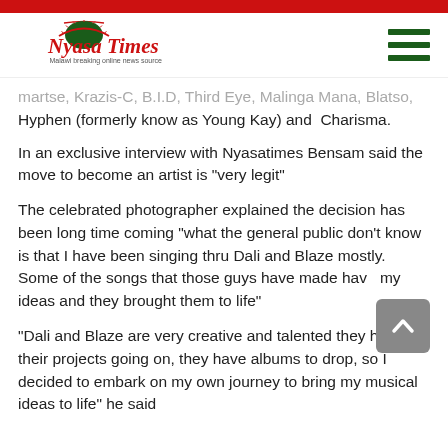Nyasa Times — Malawi breaking online news source
martse, Krazis-C, B.I.D, Third Eye, Malinga Mana, Blatso, Hyphen (formerly know as Young Kay) and  Charisma.
In an exclusive interview with Nyasatimes Bensam said the move to become an artist is "very legit"
The celebrated photographer explained the decision has been long time coming "what the general public don't know is that I have been singing thru Dali and Blaze mostly. Some of the songs that those guys have made have my ideas and they brought them to life"
"Dali and Blaze are very creative and talented they have their projects going on, they have albums to drop, so I decided to embark on my own journey to bring my musical ideas to life" he said